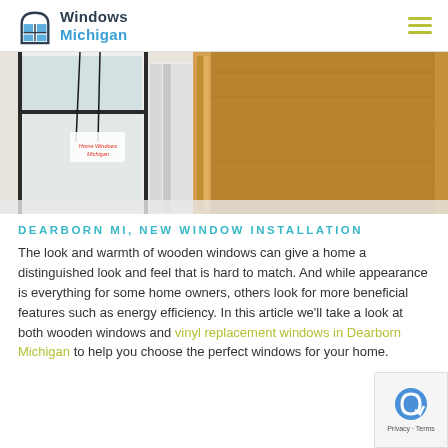Windows Michigan
[Figure (photo): Close-up photo of white and wood-grain window frames side by side, showing cross-sections of the window profiles with a watermark reading 'Home Windows Michigan']
DEARBORN MI, NEW WINDOW INSTALLATION
The look and warmth of wooden windows can give a home a distinguished look and feel that is hard to match. And while appearance is everything for some home owners, others look for more beneficial features such as energy efficiency. In this article we'll take a look at both wooden windows and vinyl replacement windows in Dearborn Michigan to help you choose the perfect windows for your home.